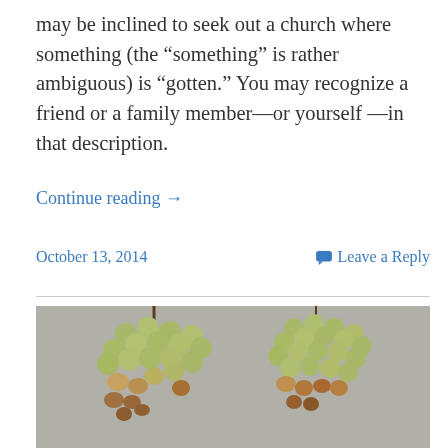may be inclined to seek out a church where something (the “something” is rather ambiguous) is “gotten.” You may recognize a friend or a family member—or yourself —in that description.
Continue reading →
October 13, 2014
Leave a Reply
[Figure (photo): Two clusters of white/green grapes on a concrete surface, some grapes showing browning and shriveling at the bottom]